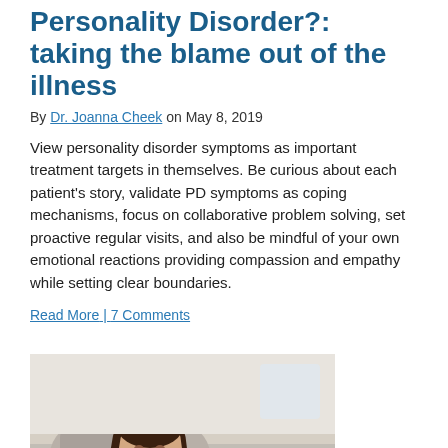Personality Disorder?: taking the blame out of the illness
By Dr. Joanna Cheek on May 8, 2019
View personality disorder symptoms as important treatment targets in themselves. Be curious about each patient's story, validate PD symptoms as coping mechanisms, focus on collaborative problem solving, set proactive regular visits, and also be mindful of your own emotional reactions providing compassion and empathy while setting clear boundaries.
Read More | 7 Comments
[Figure (photo): A pregnant woman lying on a couch, crying and holding a tissue to her face]
Anxiety disorders among pregnant